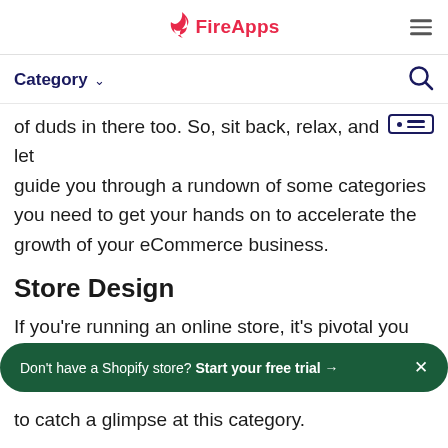FireApps
Category
of duds in there too. So, sit back, relax, and let guide you through a rundown of some categories you need to get your hands on to accelerate the growth of your eCommerce business.
Store Design
If you’re running an online store, it’s pivotal you offer your customers a smooth shopping to catch a glimpse at this category.
Don’t have a Shopify store? Start your free trial →